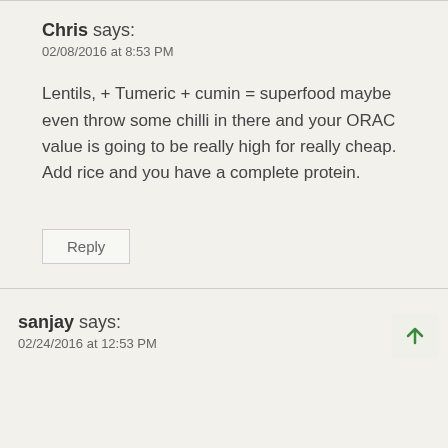Chris says:
02/08/2016 at 8:53 PM
Lentils, + Tumeric + cumin = superfood maybe even throw some chilli in there and your ORAC value is going to be really high for really cheap. Add rice and you have a complete protein.
Reply
sanjay says:
02/24/2016 at 12:53 PM